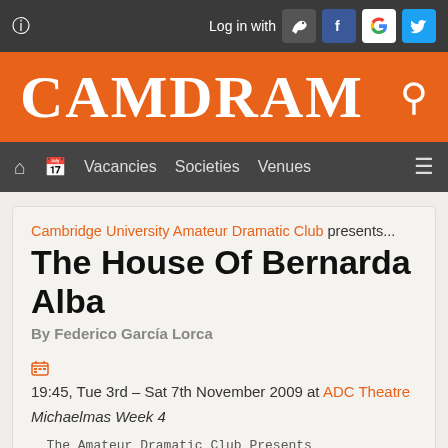Log in with [icons]
[Figure (logo): CAMDRAM logo on orange background with search icon]
Vacancies  Societies  Venues
Cambridge University Amateur Dramatic Club presents...
The House Of Bernarda Alba
By Federico García Lorca
19:45, Tue 3rd – Sat 7th November 2009 at ADC Theatre
Michaelmas Week 4
The Amateur Dramatic Club Presents
The House Of Bernarda Alba By Federico García Lorca
Week 4, Michaelmas Term 2009 Tuesday 3rd-7th